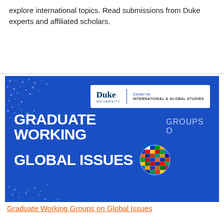explore international topics. Read submissions from Duke experts and affiliated scholars.
[Figure (illustration): Duke University Center for International & Global Studies banner with blue background showing 'GRADUATE WORKING GROUPS ON GLOBAL ISSUES' text in white with a globe made of international flags and dot pattern decorations.]
Graduate Working Groups on Global Issues